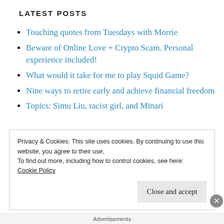LATEST POSTS
Touching quotes from Tuesdays with Morrie
Beware of Online Love + Crypto Scam. Personal experience included!
What would it take for me to play Squid Game?
Nine ways to retire early and achieve financial freedom
Topics: Simu Liu, racist girl, and Minari
Privacy & Cookies: This site uses cookies. By continuing to use this website, you agree to their use.
To find out more, including how to control cookies, see here:
Cookie Policy
Close and accept
Advertisements